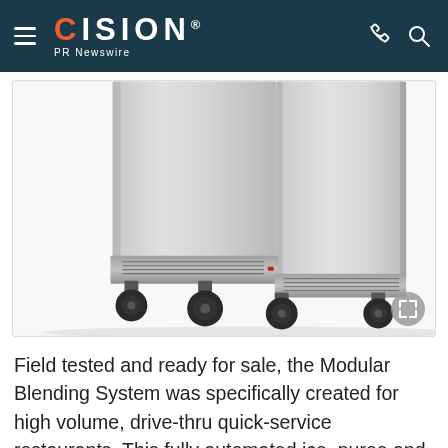CISION PR Newswire
[Figure (photo): Bottom portion of a stainless steel commercial appliance (Modular Blending System) on black caster wheels, photographed against a white background.]
Field tested and ready for sale, the Modular Blending System was specifically created for high volume, drive-thru quick-service restaurants. This fully automated ice, puree and blending system provides